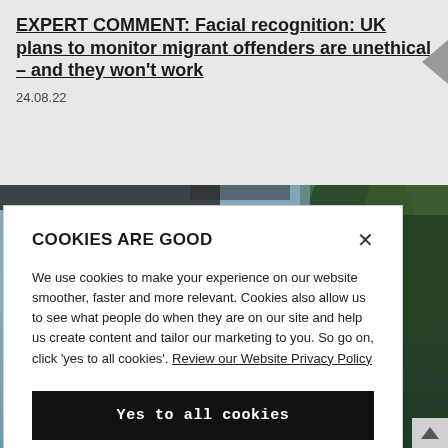EXPERT COMMENT: Facial recognition: UK plans to monitor migrant offenders are unethical – and they won't work
24.08.22
[Figure (photo): Background photograph of trees against a sky, partially obscured by the cookie consent modal]
COOKIES ARE GOOD
We use cookies to make your experience on our website smoother, faster and more relevant. Cookies also allow us to see what people do when they are on our site and help us create content and tailor our marketing to you. So go on, click 'yes to all cookies'. Review our Website Privacy Policy
Yes to all cookies
Let me choose